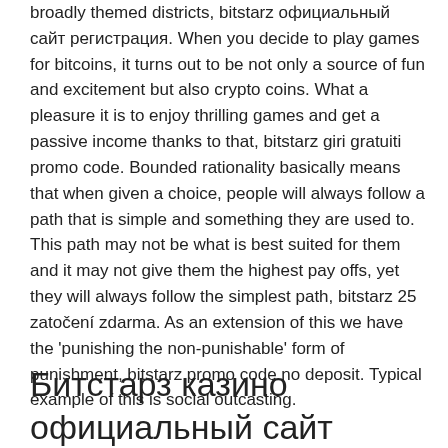broadly themed districts, bitstarz официальный сайт регистрация. When you decide to play games for bitcoins, it turns out to be not only a source of fun and excitement but also crypto coins. What a pleasure it is to enjoy thrilling games and get a passive income thanks to that, bitstarz giri gratuiti promo code. Bounded rationality basically means that when given a choice, people will always follow a path that is simple and something they are used to. This path may not be what is best suited for them and it may not give them the highest pay offs, yet they will always follow the simplest path, bitstarz 25 zatočení zdarma. As an extension of this we have the 'punishing the non-punishable' form of punishment, bitstarz promo code no deposit. Typical example of this is social outcasting.
Битстарз казино официальный сайт